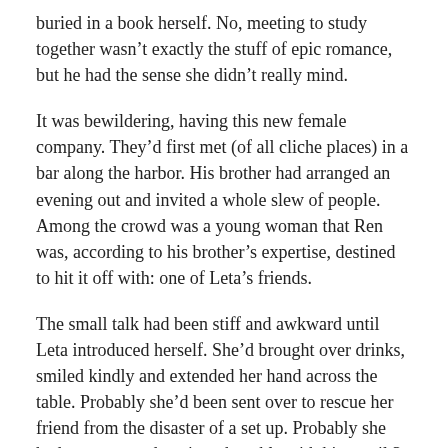buried in a book herself. No, meeting to study together wasn't exactly the stuff of epic romance, but he had the sense she didn't really mind.
It was bewildering, having this new female company. They'd first met (of all cliche places) in a bar along the harbor. His brother had arranged an evening out and invited a whole slew of people. Among the crowd was a young woman that Ren was, according to his brother's expertise, destined to hit it off with: one of Leta's friends.
The small talk had been stiff and awkward until Leta introduced herself. She'd brought over drinks, smiled kindly and extended her hand across the table. Probably she'd been sent over to rescue her friend from the disaster of a set up. Probably she had not expected to sit at the table with him until 3 a.m., drinking and talking long after her friends and everyone else had left.